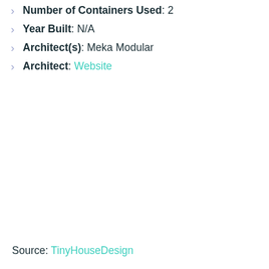Number of Containers Used: 2
Year Built: N/A
Architect(s): Meka Modular
Architect: Website
Source: TinyHouseDesign